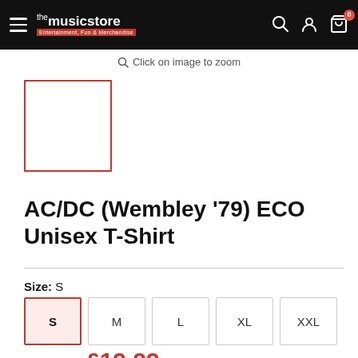the music store — Entertainment, Fun & Merchandise
Click on image to zoom
[Figure (other): Product thumbnail placeholder — empty box with red border]
AC/DC (Wembley '79) ECO Unisex T-Shirt
Size: S
S  M  L  XL  XXL
Price: £19.99